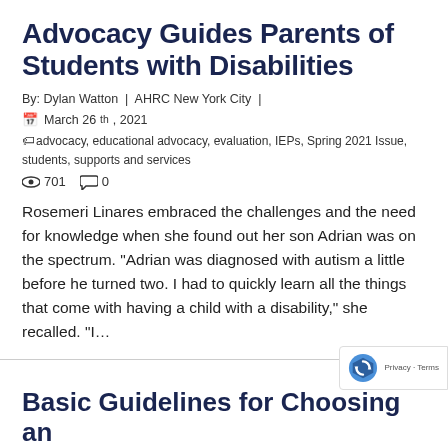Advocacy Guides Parents of Students with Disabilities
By: Dylan Watton | AHRC New York City |
March 26th, 2021
advocacy, educational advocacy, evaluation, IEPs, Spring 2021 Issue, students, supports and services
701  0
Rosemeri Linares embraced the challenges and the need for knowledge when she found out her son Adrian was on the spectrum. “Adrian was diagnosed with autism a little before he turned two. I had to quickly learn all the things that come with having a child with a disability,” she recalled. “I…
Basic Guidelines for Choosing an Advocate for Your Child...